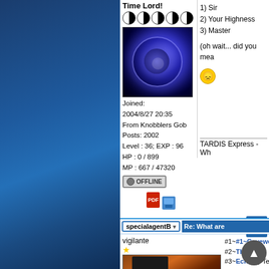[Figure (screenshot): Blue gradient background on left side of forum page]
Time Lord!
[Figure (photo): Avatar image — dark blue swirling energy/portal effect]
Joined: 2004/8/27 20:35
From Knobblers Gob
Posts: 2002
Level : 36; EXP : 96
HP : 0 / 899
MP : 667 / 47320
[Figure (illustration): OFFLINE status button]
1) Sir
2) Your Highness
3) Master

(oh wait... did you mea
[Figure (illustration): Sad smiley emoticon]
TARDIS Express - Wh
specialagentB
Re: What are
vigilante
#1~Cavewoma
#2~The Swor
#3~Echo by Te